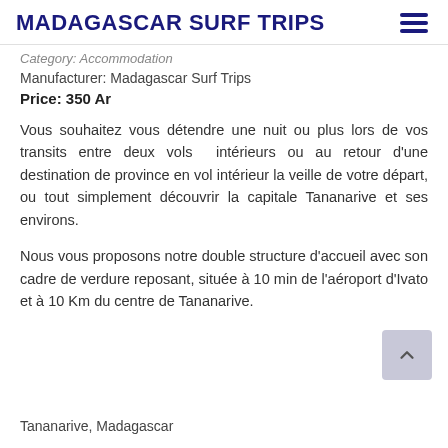MADAGASCAR SURF TRIPS
Category: Accommodation
Manufacturer: Madagascar Surf Trips
Price: 350 Ar
Vous souhaitez vous détendre une nuit ou plus lors de vos transits entre deux vols  intérieurs ou au retour d'une destination de province en vol intérieur la veille de votre départ, ou tout simplement découvrir la capitale Tananarive et ses environs.
Nous vous proposons notre double structure d'accueil avec son cadre de verdure reposant, située à 10 min de l'aéroport d'Ivato et à 10 Km du centre de Tananarive.
Tananarive, Madagascar